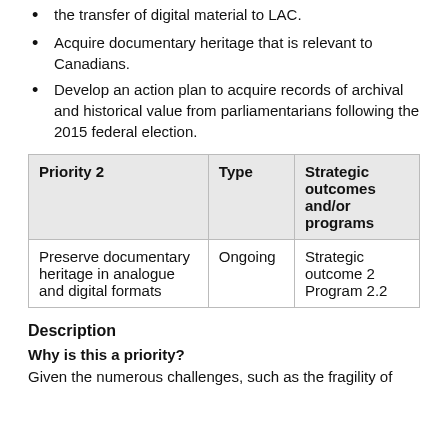the transfer of digital material to LAC.
Acquire documentary heritage that is relevant to Canadians.
Develop an action plan to acquire records of archival and historical value from parliamentarians following the 2015 federal election.
| Priority 2 | Type | Strategic outcomes and/or programs |
| --- | --- | --- |
| Preserve documentary heritage in analogue and digital formats | Ongoing | Strategic outcome 2
Program 2.2 |
Description
Why is this a priority?
Given the numerous challenges, such as the fragility of